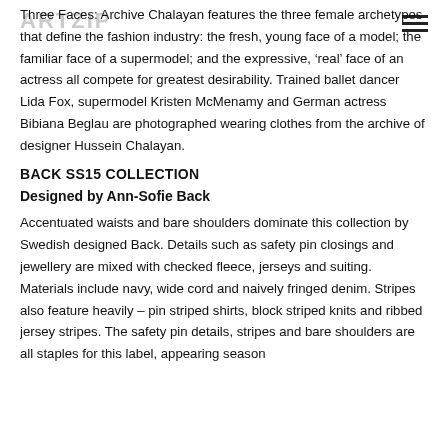ARTZIP [logo]
Three Faces: Archive Chalayan features the three female archetypes that define the fashion industry: the fresh, young face of a model; the familiar face of a supermodel; and the expressive, ‘real’ face of an actress all compete for greatest desirability. Trained ballet dancer Lida Fox, supermodel Kristen McMenamy and German actress Bibiana Beglau are photographed wearing clothes from the archive of designer Hussein Chalayan.
BACK SS15 COLLECTION
Designed by Ann-Sofie Back
Accentuated waists and bare shoulders dominate this collection by Swedish designed Back. Details such as safety pin closings and jewellery are mixed with checked fleece, jerseys and suiting. Materials include navy, wide cord and naively fringed denim. Stripes also feature heavily – pin striped shirts, block striped knits and ribbed jersey stripes. The safety pin details, stripes and bare shoulders are all staples for this label, appearing season